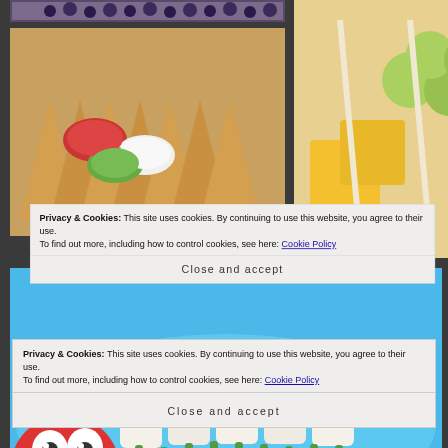[Figure (photo): Collage of food photos: nachos with dipping sauces, fruit and cheese skewers, caterpillar sandwich art on blue plate, buffet food trays, halved oranges with kiwi, table with food items, and partial bottom row images]
Privacy & Cookies: This site uses cookies. By continuing to use this website, you agree to their use. To find out more, including how to control cookies, see here: Cookie Policy
Close and accept